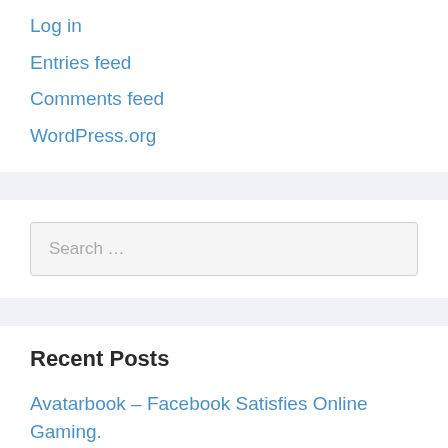Log in
Entries feed
Comments feed
WordPress.org
Search …
Recent Posts
Avatarbook – Facebook Satisfies Online Gaming.